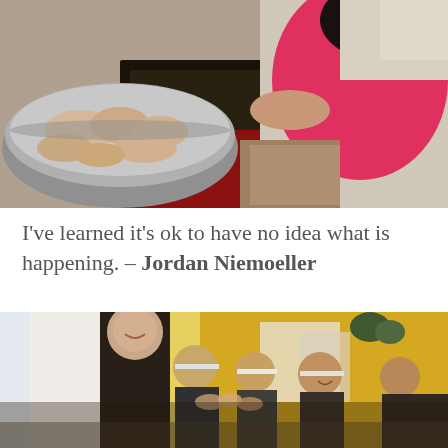[Figure (photo): A person in a pink shirt leaning over a large metal pot containing raw chicken pieces on what appears to be a cooking stove or burner in an indoor setting.]
I've learned it's ok to have no idea what is happening. – Jordan Niemoeller
[Figure (photo): A group of people gathered together, with a tall person in a dark shirt in the center smiling, surrounded by several other people appearing to celebrate or interact. There is a painted mural on the wall in the background with yellow and orange colors.]